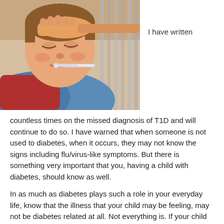[Figure (photo): A sick child lying in bed with a thermometer in his mouth, and an adult hand on his forehead checking for fever.]
I have written
countless times on the missed diagnosis of T1D and will continue to do so.  I have warned that when someone is not used to diabetes, when it occurs, they may not know the signs including flu/virus-like symptoms.  But there is something very important that you, having a child with diabetes, should know as well.
In as much as diabetes plays such a role in your everyday life, know that the illness that your child may be feeling, may not be diabetes related at all.  Not everything is.  If your child is reaching adolescence know that their bodies will go through enormous changes.  The pains, the growing spurts, are all in the mix in this part of their lives.   If they have stomach pains, it very well may be the flu as well as keytones.
Until you could put a name or a label or most importantly; a diagnosis—-RULE NOTHING OUT.  Ear aches are not necessarily diabetes related nor is the tingling in their legs.  Headaches very well could be diabetes related as that